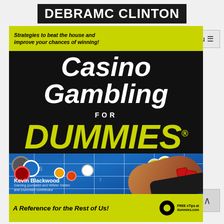DEBRAMC CLINTON
[Figure (photo): Book cover of 'Casino Gambling For Dummies' by Kevin Blackwood. Black cover with yellow text 'DUMMIES', white italic text 'Casino Gambling', yellow top banner with italic text 'Strategies to beat the house and improve your chances of winning!', bottom yellow banner with 'A Reference for the Rest of Us!'. Photo shows a casino craps table with chips and a hand holding dice.]
Menu ☰